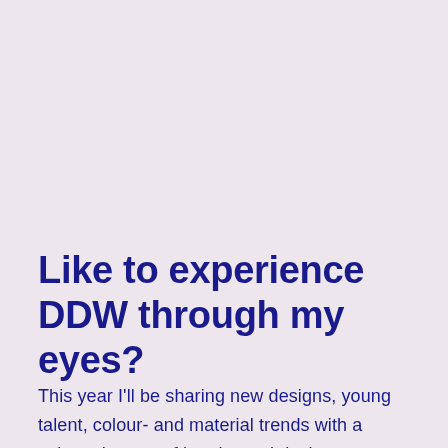Like to experience DDW through my eyes?
This year I'll be sharing new designs, young talent, colour- and material trends with a selected group of interior and design professionals through 200 private Instagram